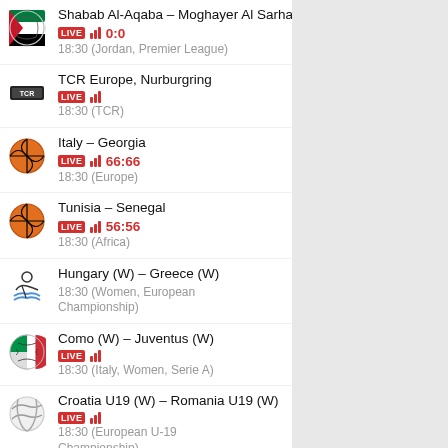Shabab Al-Aqaba – Moghayer Al Sarhan
LIVE ||| 0:0
18:30 (Jordan, Premier League)
TCR Europe, Nurburgring
LIVE |||
18:30 (TCR)
Italy – Georgia
LIVE ||| 66:66
18:30 (Europe)
Tunisia – Senegal
LIVE ||| 56:56
18:30 (Africa)
Hungary (W) – Greece (W)
18:30 (Women, European Championship)
Como (W) – Juventus (W)
LIVE |||
18:30 (Italy, Women, Serie A)
Croatia U19 (W) – Romania U19 (W)
LIVE |||
18:30 (European U-19 Championship)
Finland U19 (W) – North Macedonia U19 (W)
LIVE |||
18:30 (European U-19 Championship)
Titograd – KaDy
LIVE |||
18:30 (Champions League)
Alverca – UD Leiria
LIVE ||| 3:1